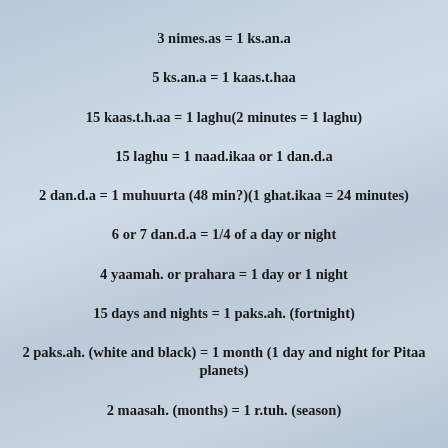3 nimes.as = 1 ks.an.a
5 ks.an.a = 1 kaas.t.haa
15 kaas.t.h.aa = 1 laghu(2 minutes = 1 laghu)
15 laghu = 1 naad.ikaa or 1 dan.d.a
2 dan.d.a = 1 muhuurta (48 min?)(1 ghat.ikaa = 24 minutes)
6 or 7 dan.d.a = 1/4 of a day or night
4 yaamah. or prahara = 1 day or 1 night
15 days and nights = 1 paks.ah. (fortnight)
2 paks.ah. (white and black) = 1 month (1 day and night for Pitaa planets)
2 maasah. (months) = 1 r.tuh. (season)